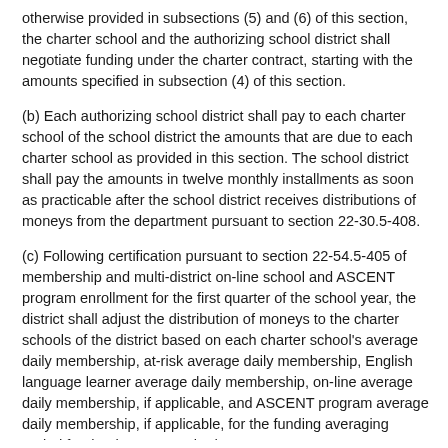otherwise provided in subsections (5) and (6) of this section, the charter school and the authorizing school district shall negotiate funding under the charter contract, starting with the amounts specified in subsection (4) of this section.
(b) Each authorizing school district shall pay to each charter school of the school district the amounts that are due to each charter school as provided in this section. The school district shall pay the amounts in twelve monthly installments as soon as practicable after the school district receives distributions of moneys from the department pursuant to section 22-30.5-408.
(c) Following certification pursuant to section 22-54.5-405 of membership and multi-district on-line school and ASCENT program enrollment for the first quarter of the school year, the district shall adjust the distribution of moneys to the charter schools of the district based on each charter school's average daily membership, at-risk average daily membership, English language learner average daily membership, on-line average daily membership, if applicable, and ASCENT program average daily membership, if applicable, for the funding averaging period for the then-current budget year.
(4) (a) Except as otherwise provided in subsections (5) and (6) of this section, negotiations between a charter school and the authorizing district begin with the charter school receiving an amount equal to: